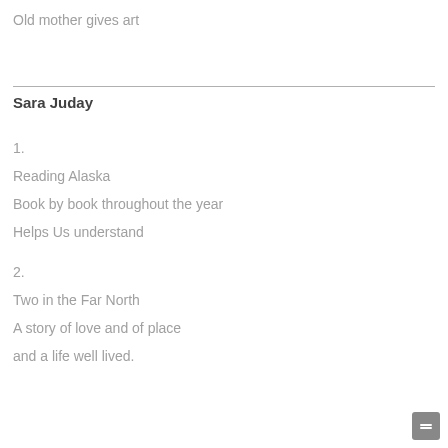Old mother gives art
Sara Juday
1.
Reading Alaska
Book by book throughout the year
Helps Us understand
2.
Two in the Far North
A story of love and of place
and a life well lived.